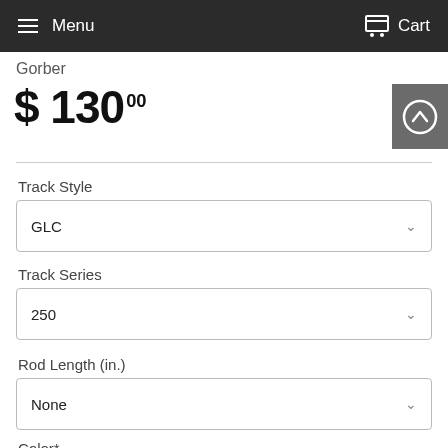Menu  Cart
Gorber
$ 130 00
Track Style
GLC
Track Series
250
Rod Length (in.)
None
Color*
Blue